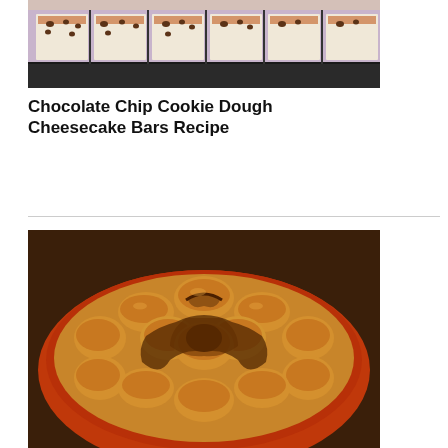[Figure (photo): Close-up photo of chocolate chip cookie dough cheesecake bars on a baking rack, showing white/cream colored bars with chocolate chips on top, in a dark baking pan]
Chocolate Chip Cookie Dough Cheesecake Bars Recipe
[Figure (photo): Photo of a round baked bread or pastry dish in a red/orange round pan, showing golden-brown rolls or dough pieces arranged in a circular pattern with dark caramelized filling between them]